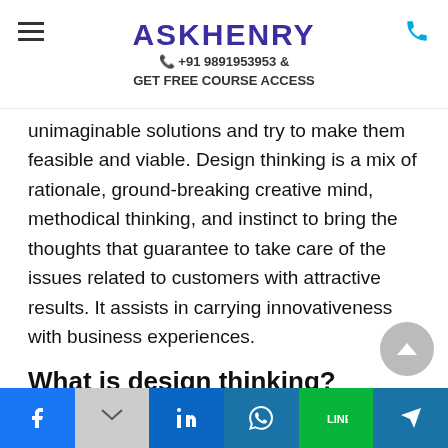ASKHENRY +91 9891953953 & GET FREE COURSE ACCESS
unimaginable solutions and try to make them feasible and viable. Design thinking is a mix of rationale, ground-breaking creative mind, methodical thinking, and instinct to bring the thoughts that guarantee to take care of the issues related to customers with attractive results. It assists in carrying innovativeness with business experiences.
What is design thinking?
Design thinking is an ideology and procedure that strives to tackle intricate issues in a human-centric
Facebook Gmail LinkedIn WhatsApp Line Telegram